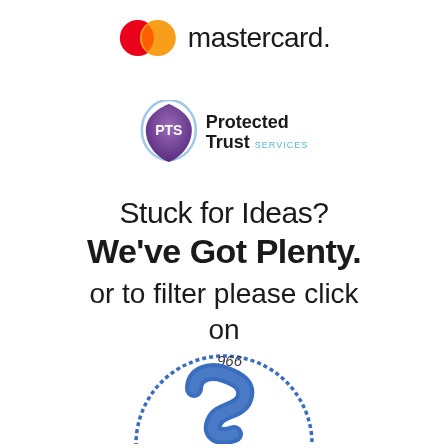[Figure (logo): Mastercard logo with two overlapping circles (red and orange) and the text 'mastercard.']
[Figure (logo): Protected Trust Services (PTS) logo: purple shield with 'PTS' text and 'Protected Trust SERVICES' text in blue]
Stuck for Ideas?
We've Got Plenty.
or to filter please click on
[Figure (logo): Circular blue stamp/seal logo with '966' text and a large blue 'S' letter inside, partially visible at bottom of page]